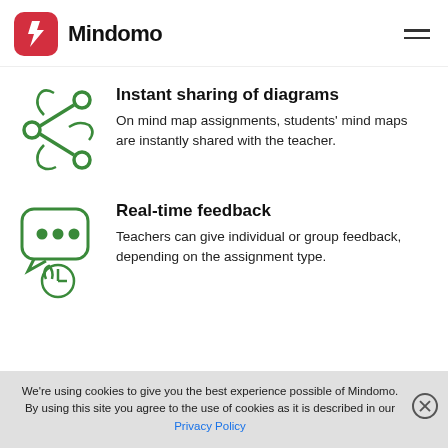[Figure (logo): Mindomo logo: red rounded square with white M icon, followed by bold text 'Mindomo']
Instant sharing of diagrams
On mind map assignments, students' mind maps are instantly shared with the teacher.
Real-time feedback
Teachers can give individual or group feedback, depending on the assignment type.
We're using cookies to give you the best experience possible of Mindomo.
By using this site you agree to the use of cookies as it is described in our Privacy Policy